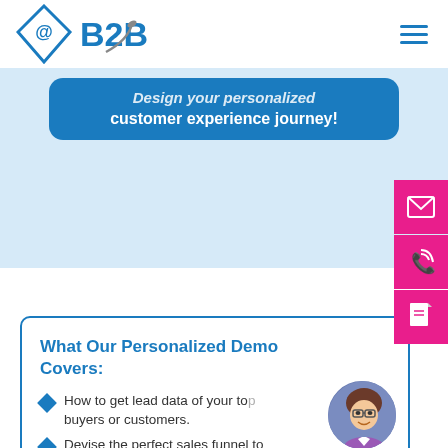[Figure (logo): @B2B logo with blue diamond shape containing @ symbol and B2B text with satellite graphic]
Design your personalized customer experience journey!
What Our Personalized Demo Covers:
How to get lead data of your top buyers or customers.
Devise the perfect sales funnel to